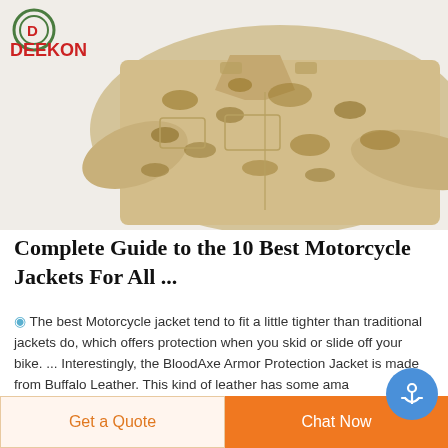[Figure (photo): Desert camouflage military-style jacket, laid flat on white background, showing collar and long sleeves, with DEEKON logo and icon in top-left corner]
Complete Guide to the 10 Best Motorcycle Jackets For All ...
🕐 The best Motorcycle jacket tend to fit a little tighter than traditional jackets do, which offers protection when you skid or slide off your bike. ... Interestingly, the BloodAxe Armor Protection Jacket is made from Buffalo Leather. This kind of leather has some ama